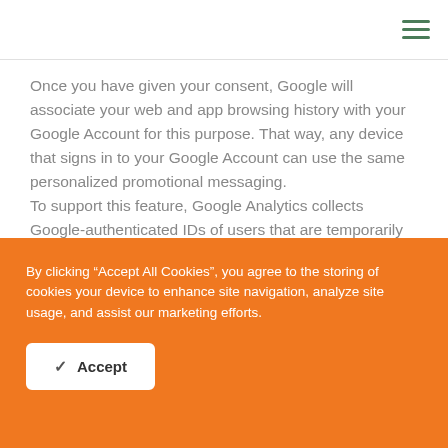Once you have given your consent, Google will associate your web and app browsing history with your Google Account for this purpose. That way, any device that signs in to your Google Account can use the same personalized promotional messaging.
To support this feature, Google Analytics collects Google-authenticated IDs of users that are temporarily linked to our Google Analytics data to define and
By clicking “Accept All Cookies”, you agree to the storing of cookies your device to enhance site navigation, analyze site usage, and assist our marketing efforts.
Accept